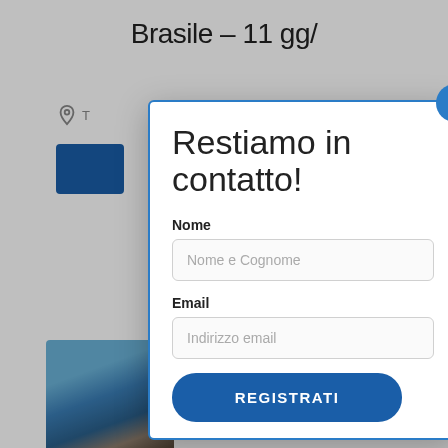Brasile – 11 gg/
[Figure (screenshot): Background page content showing a travel website with location icon, blue button, and a landscape photo]
Restiamo in contatto!
Nome
Nome e Cognome
Email
Indirizzo email
REGISTRATI